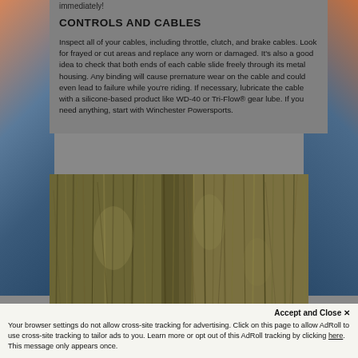immediately!
CONTROLS AND CABLES
Inspect all of your cables, including throttle, clutch, and brake cables. Look for frayed or cut areas and replace any worn or damaged. It's also a good idea to check that both ends of each cable slide freely through its metal housing. Any binding will cause premature wear on the cable and could even lead to failure while you're riding. If necessary, lubricate the cable with a silicone-based product like WD-40 or Tri-Flow® gear lube. If you need anything, start with Winchester Powersports.
[Figure (photo): Close-up photo of dense hanging moss or lichen on tree branches, greenish-brown texture filling the frame]
Accept and Close ✕
Your browser settings do not allow cross-site tracking for advertising. Click on this page to allow AdRoll to use cross-site tracking to tailor ads to you. Learn more or opt out of this AdRoll tracking by clicking here. This message only appears once.